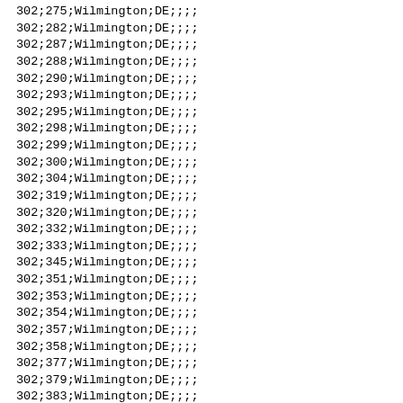302;275;Wilmington;DE;;;;
302;282;Wilmington;DE;;;;
302;287;Wilmington;DE;;;;
302;288;Wilmington;DE;;;;
302;290;Wilmington;DE;;;;
302;293;Wilmington;DE;;;;
302;295;Wilmington;DE;;;;
302;298;Wilmington;DE;;;;
302;299;Wilmington;DE;;;;
302;300;Wilmington;DE;;;;
302;304;Wilmington;DE;;;;
302;319;Wilmington;DE;;;;
302;320;Wilmington;DE;;;;
302;332;Wilmington;DE;;;;
302;333;Wilmington;DE;;;;
302;345;Wilmington;DE;;;;
302;351;Wilmington;DE;;;;
302;353;Wilmington;DE;;;;
302;354;Wilmington;DE;;;;
302;357;Wilmington;DE;;;;
302;358;Wilmington;DE;;;;
302;377;Wilmington;DE;;;;
302;379;Wilmington;DE;;;;
302;383;Wilmington;DE;;;;
302;384;Wilmington;DE;;;;
302;388;Wilmington;DE;;;;
302;394;Wilmington;DE;;;;
302;397;Wilmington;DE;;;;
302;407;Wilmington;DE;;;;
302;409;Wilmington;DE;;;;